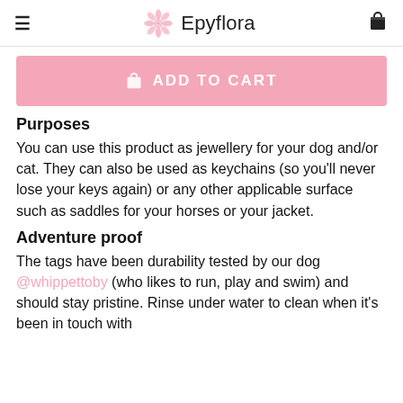Epyflora
[Figure (other): Pink ADD TO CART button with shopping bag icon]
Purposes
You can use this product as jewellery for your dog and/or cat. They can also be used as keychains (so you'll never lose your keys again) or any other applicable surface such as saddles for your horses or your jacket.
Adventure proof
The tags have been durability tested by our dog @whippettoby (who likes to run, play and swim) and should stay pristine. Rinse under water to clean when it's been in touch with